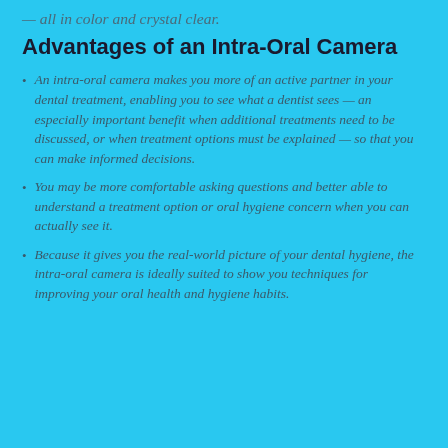— all in color and crystal clear.
Advantages of an Intra-Oral Camera
An intra-oral camera makes you more of an active partner in your dental treatment, enabling you to see what a dentist sees — an especially important benefit when additional treatments need to be discussed, or when treatment options must be explained — so that you can make informed decisions.
You may be more comfortable asking questions and better able to understand a treatment option or oral hygiene concern when you can actually see it.
Because it gives you the real-world picture of your dental hygiene, the intra-oral camera is ideally suited to show you techniques for improving your oral health and hygiene habits.